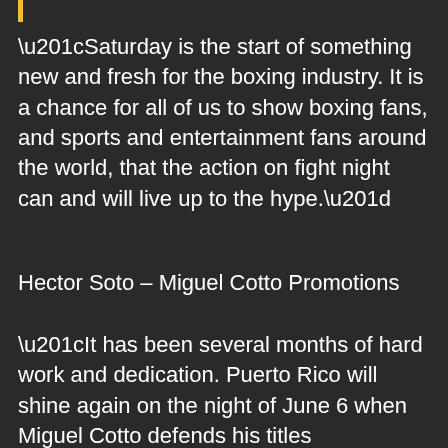“Saturday is the start of something new and fresh for the boxing industry. It is a chance for all of us to show boxing fans, and sports and entertainment fans around the world, that the action on fight night can and will live up to the hype.”
Hector Soto – Miguel Cotto Promotions
“It has been several months of hard work and dedication. Puerto Rico will shine again on the night of June 6 when Miguel Cotto defends his titles successfully.”